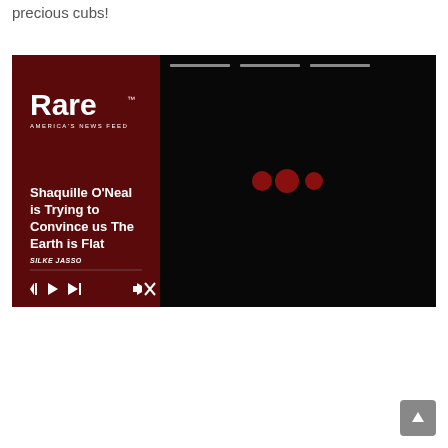precious cubs!
[Figure (screenshot): Embedded video player from 'Rare - America's News Feed' showing an article titled 'Shaquille O'Neal is Trying to Convince us The Earth is Flat' by Silke Jasso. The left panel has a dark red/maroon background with the Rare logo and article title. The right panel shows a black video area with three dark red loading dots and progress bar indicators at the top. Media controls (back, play, forward, mute) are visible at the bottom.]